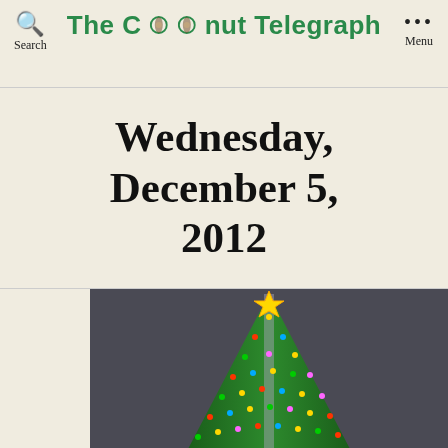The Coconut Telegraph
Wednesday, December 5, 2012
[Figure (photo): A lit Christmas tree with colored lights and a gold star on top, photographed at night against a dark gray background. Only the top portion and center of the tree are visible.]